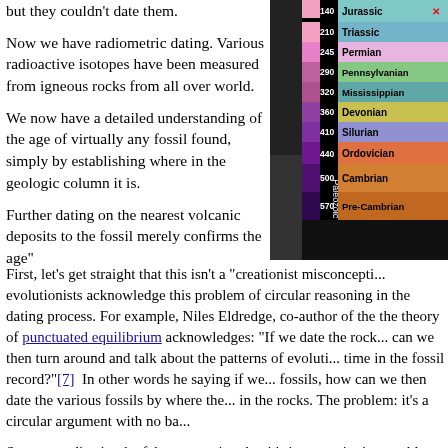but they couldn't date them.
Now we have radiometric dating. Various radioactive isotopes have been measured from igneous rocks from all over world.
We now have a detailed understanding of the age of virtually any fossil found, simply by establishing where in the geologic column it is.
Further dating on the nearest volcanic deposits to the fossil merely confirms the age"
[Figure (infographic): Geologic time scale chart showing Mesozoic Era and Paleozoic Era with periods and dates in millions of years: Jurassic, Triassic (245), Permian (290), Pennsylvanian (320), Mississippian (360), Devonian (410), Silurian (440), Ordovician (500), Cambrian (570), Pre-Cambrian]
First, let's get straight that this isn't a "creationist misconception" — evolutionists acknowledge this problem of circular reasoning in the dating process. For example, Niles Eldredge, co-author of the theory of punctuated equilibrium acknowledges: "If we date the rocks... can we then turn around and talk about the patterns of evolution through time in the fossil record?"[7]  In other words he saying if we date rocks by fossils, how can we then date the various fossils by where they appear in the rocks. The problem: it's a circular argument with no ba...
So we can dismiss the false contention that it's just creationis... problem. Anyone who examines the dating process carefully...